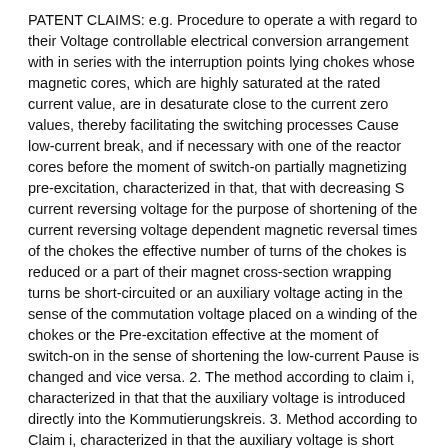PATENT CLAIMS: e.g. Procedure to operate a with regard to their Voltage controllable electrical conversion arrangement with in series with the interruption points lying chokes whose magnetic cores, which are highly saturated at the rated current value, are in desaturate close to the current zero values, thereby facilitating the switching processes Cause low-current break, and if necessary with one of the reactor cores before the moment of switch-on partially magnetizing pre-excitation, characterized in that, that with decreasing S current reversing voltage for the purpose of shortening of the current reversing voltage dependent magnetic reversal times of the chokes the effective number of turns of the chokes is reduced or a part of their magnet cross-section wrapping turns be short-circuited or an auxiliary voltage acting in the sense of the commutation voltage placed on a winding of the chokes or the Pre-excitation effective at the moment of switch-on in the sense of shortening the low-current Pause is changed and vice versa. 2. The method according to claim i, characterized in that that the auxiliary voltage is introduced directly into the Kommutierungskreis. 3. Method according to Claim i, characterized in that the auxiliary voltage is short Voltage surges are used, their phase position when regulating the control angle of the converter is rotated automatically. q .. Method according to claim i, characterized characterized in that the auxiliary voltage depends on